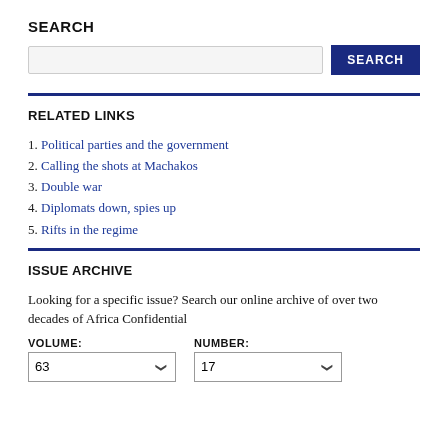SEARCH
1. Political parties and the government
2. Calling the shots at Machakos
3. Double war
4. Diplomats down, spies up
5. Rifts in the regime
RELATED LINKS
ISSUE ARCHIVE
Looking for a specific issue? Search our online archive of over two decades of Africa Confidential
VOLUME: 63   NUMBER: 17